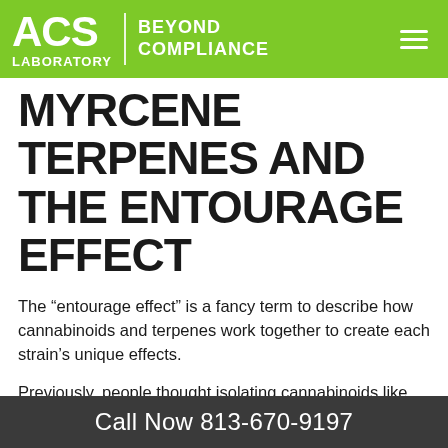ACS LABORATORY | BEYOND COMPLIANCE
MYRCENE TERPENES AND THE ENTOURAGE EFFECT
The “entourage effect” is a fancy term to describe how cannabinoids and terpenes work together to create each strain’s unique effects.
Previously, people thought isolating cannabinoids like THC was the best way to get the most targeted healing benefits. But continued research has shown that the entourage effect is responsible for much of what we once attributed to THC. The
Call Now 813-670-9197